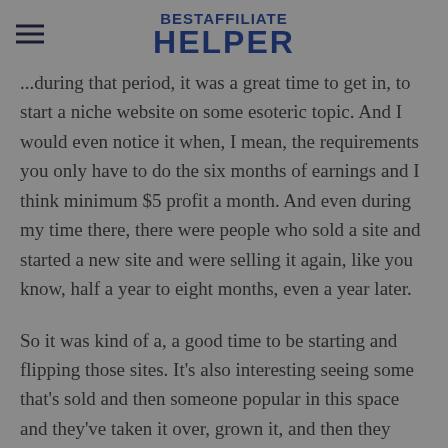BESTAFFILIATE HELPER
...during that period, it was a great time to get in, to start a niche website on some esoteric topic. And I would even notice it when, I mean, the requirements you only have to do the six months of earnings and I think minimum $5 profit a month. And even during my time there, there were people who sold a site and started a new site and were selling it again, like you know, half a year to eight months, even a year later.
So it was kind of a, a good time to be starting and flipping those sites. It's also interesting seeing some that's sold and then someone popular in this space and they've taken it over, grown it, and then they were selling it again and see some of the changes that were going on, whether the. The UI needed to